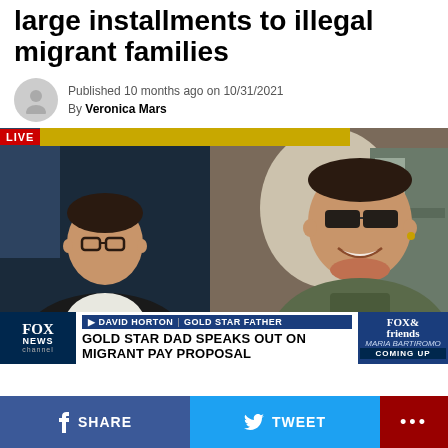over supposed arrangement to give large installments to illegal migrant families
Published 10 months ago on 10/31/2021
By Veronica Mars
[Figure (screenshot): Fox News live TV segment showing a man in glasses on the left panel and a smiling soldier in sunglasses and military gear on the right. Lower third shows 'DAVID HORTON | GOLD STAR FATHER' and headline 'GOLD STAR DAD SPEAKS OUT ON MIGRANT PAY PROPOSAL'. Fox & Friends logo with Maria Bartiromo 'Coming Up' on the right.]
SHARE  TWEET  ...